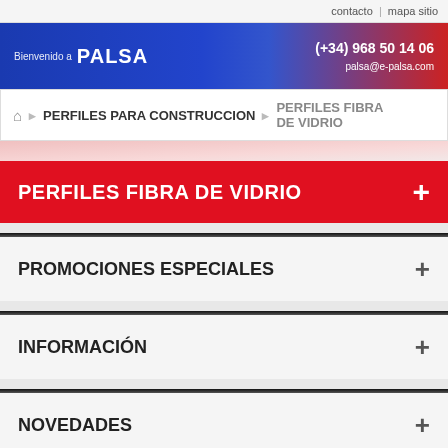contacto | mapa sitio
[Figure (screenshot): PALSA company header banner with logo text 'Bienvenido a PALSA', phone (+34) 968 50 14 06, email palsa@e-palsa.com, blue-red gradient background]
PERFILES PARA CONSTRUCCION > PERFILES FIBRA DE VIDRIO
PERFILES FIBRA DE VIDRIO +
PROMOCIONES ESPECIALES +
INFORMACIÓN +
NOVEDADES +